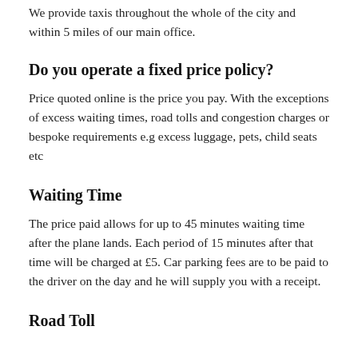We provide taxis throughout the whole of the city and within 5 miles of our main office.
Do you operate a fixed price policy?
Price quoted online is the price you pay. With the exceptions of excess waiting times, road tolls and congestion charges or bespoke requirements e.g excess luggage, pets, child seats etc
Waiting Time
The price paid allows for up to 45 minutes waiting time after the plane lands. Each period of 15 minutes after that time will be charged at £5. Car parking fees are to be paid to the driver on the day and he will supply you with a receipt.
Road Tolls